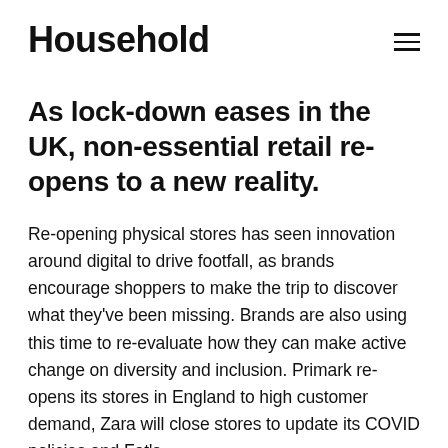Household
As lock-down eases in the UK, non-essential retail re-opens to a new reality.
Re-opening physical stores has seen innovation around digital to drive footfall, as brands encourage shoppers to make the trip to discover what they've been missing. Brands are also using this time to re-evaluate how they can make active change on diversity and inclusion. Primark re-opens its stores in England to high customer demand, Zara will close stores to update its COVID policies and Fat's